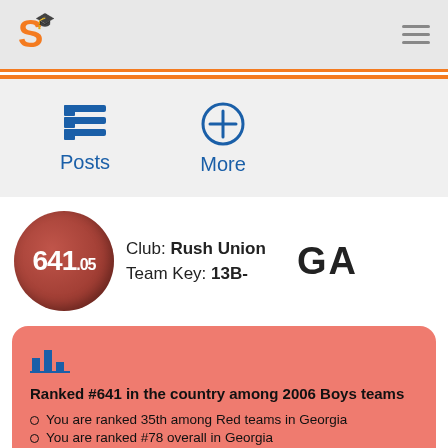S [logo] — hamburger menu
Posts  More
Club: Rush Union  Team Key: 13B-  GA  641.05
Ranked #641 in the country among 2006 Boys teams
You are ranked 35th among Red teams in Georgia
You are ranked #78 overall in Georgia
You compete at the Red level
Your latest ranked result was on 8/21/2022
Your record in the past year was 0-0-0
Your best competition: Red or upper Blue teams
You can manage your games to enhance accuracy